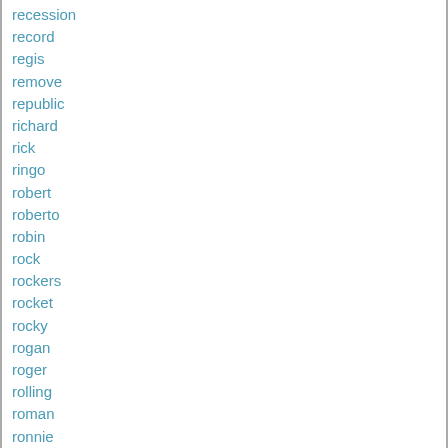recession
record
regis
remove
republic
richard
rick
ringo
robert
roberto
robin
rock
rockers
rocket
rocky
rogan
roger
rolling
roman
ronnie
room
rose
rowdy
rudolph